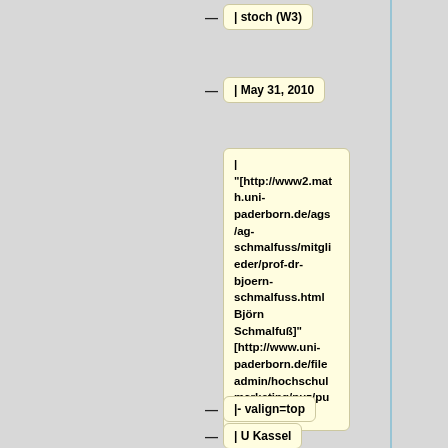| stoch (W3)
| May 31, 2010
| "[http://www2.math.uni-paderborn.de/ags/ag-schmalfuss/mitglieder/prof-dr-bjoern-schmalfuss.html Björn Schmalfuß]" [http://www.uni-paderborn.de/fileadmin/hochschulmarketing/puz/puz-2012-1.pdf]
|- valign=top
| U Kassel